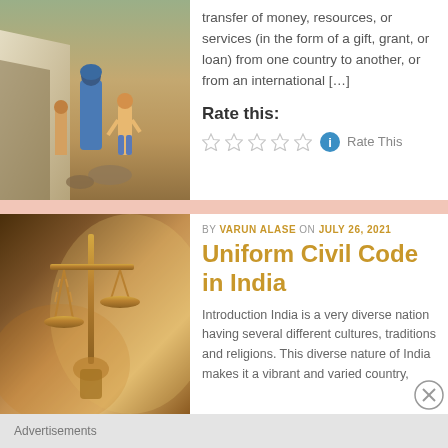transfer of money, resources, or services (in the form of a gift, grant, or loan) from one country to another, or from an international […]
Rate this:
Rate This
[Figure (photo): Outdoor scene with people, including a woman in blue robe and a child, near a tent/shelter in an arid environment]
BY VARUN ALASE ON JULY 26, 2021
Uniform Civil Code in India
Introduction India is a very diverse nation having several different cultures, traditions and religions. This diverse nature of India makes it a vibrant and varied country,
[Figure (photo): Blurred close-up of scales of justice (Lady Justice statue) with warm orange and gold tones]
Advertisements